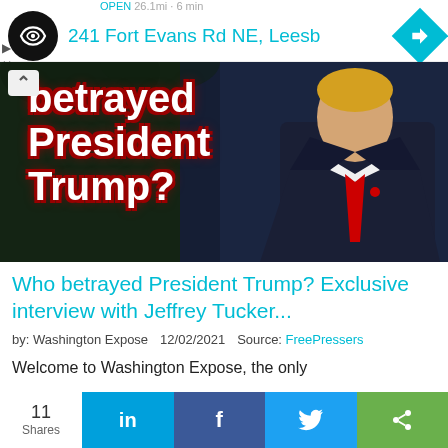241 Fort Evans Rd NE, Leesb
[Figure (photo): Person in dark suit with red tie (silhouette/photo of President Trump) with bold white text overlay reading 'betrayed President Trump?']
Who betrayed President Trump? Exclusive interview with Jeffrey Tucker...
by: Washington Expose   12/02/2021   Source: FreePressers
Welcome to Washington Expose, the only
11 Shares  in  f  [twitter]  <